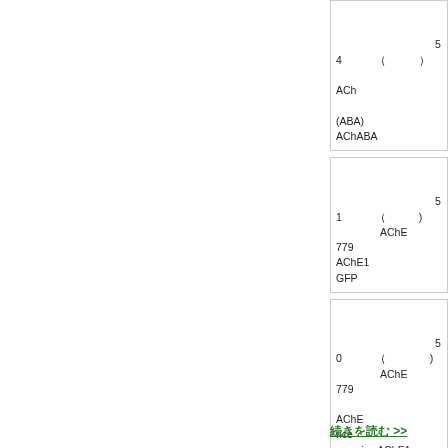（Japanese text block 1 with references to ACh, ABA, 54, AChABA）
（Japanese text block 2 with references to AChE, 51, 779, AChE1, GFP）
（Japanese text block 3 with references to AChE, 50, 779, rice AChE1, AChE）
続きを読む >>